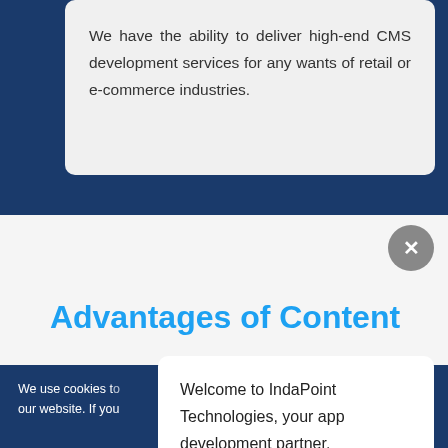We have the ability to deliver high-end CMS development services for any wants of retail or e-commerce industries.
Advantages of Content
We use cookies to personalise content and to analyse our website. If you
Welcome to IndaPoint Technologies, your app development partner.